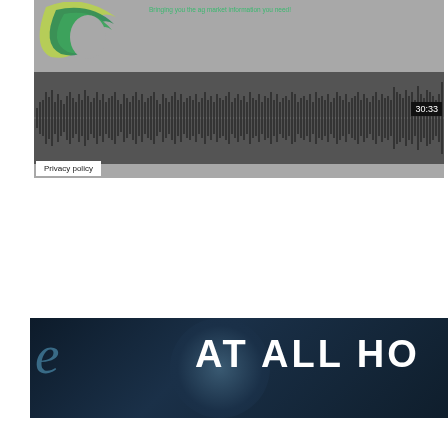[Figure (screenshot): Audio podcast player widget with gray background, green/yellow circular logo in top-left, tagline 'Bringing you the ag market information you need!' in green, a waveform visualization in dark gray with many vertical bars, timestamp '30:33' in white on black in bottom-right, and a 'Privacy policy' button in bottom-left.]
[Figure (screenshot): Dark banner image showing a microphone in a studio setting with bold white text reading 'AT ALL HO' (partially cropped) on the right side, and a decorative letter/logo on the left.]